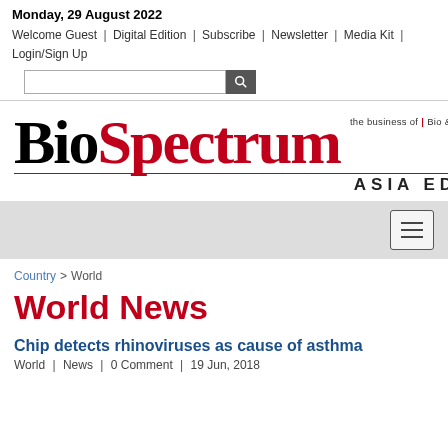Monday, 29 August 2022
Welcome Guest | Digital Edition | Subscribe | Newsletter | Media Kit | Login/Sign Up
[Figure (logo): BioSpectrum Asia Edition logo — Bio in black serif, Spectrum in red serif, tagline 'the business of | Bio & Health Sciences', ASIA EDITION in black caps below a red underline]
Country > World
World News
Chip detects rhinoviruses as cause of asthma
World | News | 0 Comment | 19 Jun, 2018